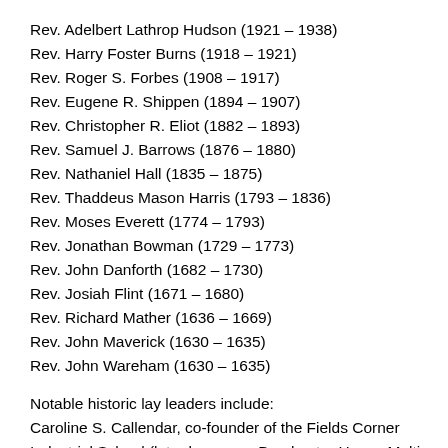Rev. Adelbert Lathrop Hudson (1921 – 1938)
Rev. Harry Foster Burns (1918 – 1921)
Rev. Roger S. Forbes (1908 – 1917)
Rev. Eugene R. Shippen (1894 – 1907)
Rev. Christopher R. Eliot (1882 – 1893)
Rev. Samuel J. Barrows (1876 – 1880)
Rev. Nathaniel Hall (1835 – 1875)
Rev. Thaddeus Mason Harris (1793 – 1836)
Rev. Moses Everett (1774 – 1793)
Rev. Jonathan Bowman (1729 – 1773)
Rev. John Danforth (1682 – 1730)
Rev. Josiah Flint (1671 – 1680)
Rev. Richard Mather (1636 – 1669)
Rev. John Maverick (1630 – 1635)
Rev. John Wareham (1630 – 1635)
Notable historic lay leaders include:
Caroline S. Callendar, co-founder of the Fields Corner Industrial School (later known as Dorchester House Multi-